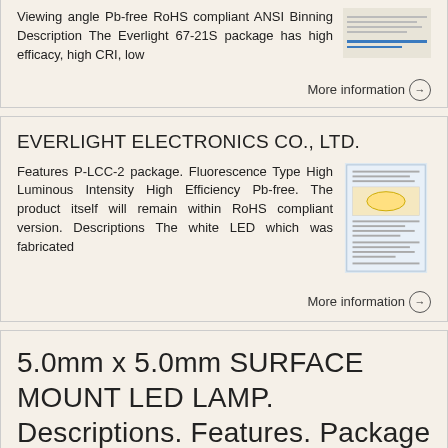Viewing angle Pb-free RoHS compliant ANSI Binning Description The Everlight 67-21S package has high efficacy, high CRI, low
More information →
EVERLIGHT ELECTRONICS CO., LTD.
Features P-LCC-2 package. Fluorescence Type High Luminous Intensity High Efficiency Pb-free. The product itself will remain within RoHS compliant version. Descriptions The white LED which was fabricated
More information →
5.0mm x 5.0mm SURFACE MOUNT LED LAMP. Descriptions. Features. Package Dimensions
5.0mm x 5.0mm SURFACE MOUNT LED